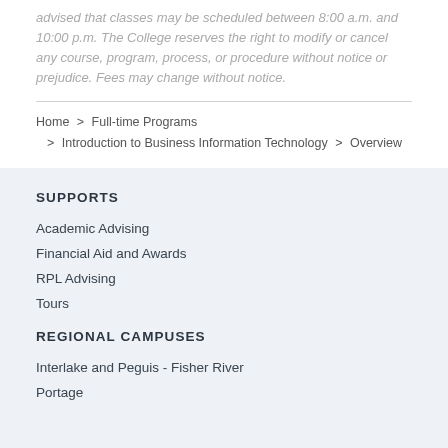advised that classes may be scheduled between 8:00 a.m. and 10:00 p.m. The College reserves the right to modify or cancel any course, program, process, or procedure without notice or prejudice. Fees may change without notice.
Home > Full-time Programs > Introduction to Business Information Technology > Overview
SUPPORTS
Academic Advising
Financial Aid and Awards
RPL Advising
Tours
REGIONAL CAMPUSES
Interlake and Peguis - Fisher River
Portage